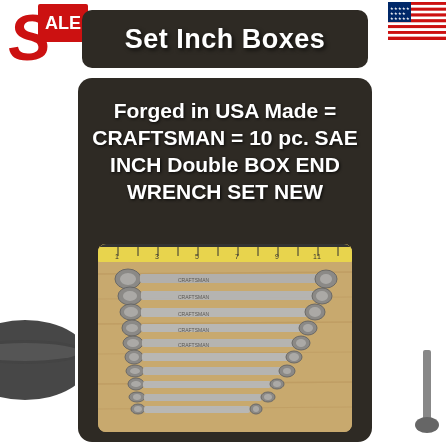[Figure (logo): Partial 'SALE TODAY' banner text with red 'S' letter on left and American flag on right]
Set Inch Boxes
Forged in USA Made = CRAFTSMAN = 10 pc. SAE INCH Double BOX END WRENCH SET NEW
[Figure (photo): Photo of 10-piece Craftsman SAE INCH Double Box End Wrench Set laid out fanned on a wooden surface with a measuring tape above them]